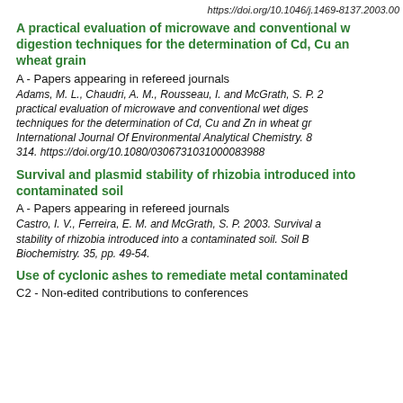https://doi.org/10.1046/j.1469-8137.2003.00
A practical evaluation of microwave and conventional wet digestion techniques for the determination of Cd, Cu and Zn in wheat grain
A - Papers appearing in refereed journals
Adams, M. L., Chaudri, A. M., Rousseau, I. and McGrath, S. P. 2003. A practical evaluation of microwave and conventional wet digestion techniques for the determination of Cd, Cu and Zn in wheat grain. International Journal Of Environmental Analytical Chemistry. 83, pp. 305-314. https://doi.org/10.1080/0306731031000083988
Survival and plasmid stability of rhizobia introduced into a contaminated soil
A - Papers appearing in refereed journals
Castro, I. V., Ferreira, E. M. and McGrath, S. P. 2003. Survival and plasmid stability of rhizobia introduced into a contaminated soil. Soil Biology and Biochemistry. 35, pp. 49-54.
Use of cyclonic ashes to remediate metal contaminated
C2 - Non-edited contributions to conferences